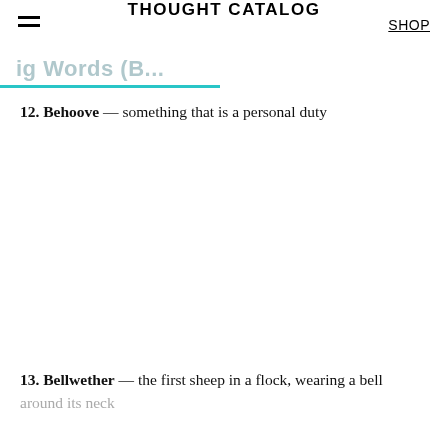THOUGHT CATALOG  SHOP
Big Words (B...)
12. Behoove — something that is a personal duty
13. Bellwether — the first sheep in a flock, wearing a bell around its neck